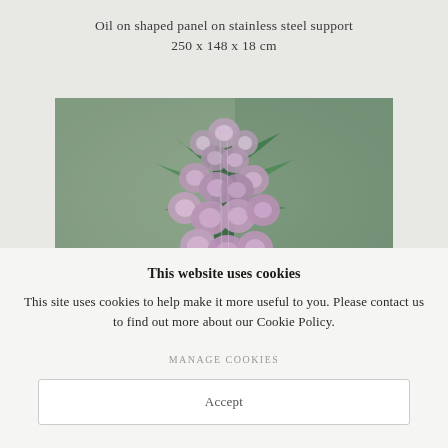Oil on shaped panel on stainless steel support
250 x 148 x 18 cm
[Figure (photo): A photograph of a sculptural painting showing a cluster of flowers rendered in green, pink, and purple tones against a muted olive-grey background.]
This website uses cookies
This site uses cookies to help make it more useful to you. Please contact us to find out more about our Cookie Policy.
MANAGE COOKIES
Accept